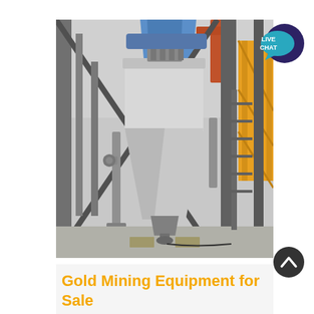[Figure (photo): Industrial mining equipment showing a large white conical hopper/cyclone separator mounted on a steel frame structure inside an industrial facility. Steel cross-bracing, pipes, and structural members are visible around the equipment. Yellow scaffolding and blue tarp visible in the background.]
[Figure (other): Live Chat button: teal speech bubble icon with dark purple background circle and white text reading LIVE CHAT]
[Figure (other): Scroll-to-top button: dark circle with white upward chevron arrow]
Gold Mining Equipment for Sale